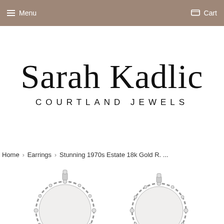Menu  Cart
[Figure (logo): Sarah Kadlic Courtland Jewels logo — script cursive text 'Sarah Kadlic' above spaced uppercase sans-serif text 'COURTLAND JEWELS']
Home › Earrings › Stunning 1970s Estate 18k Gold R. ...
[Figure (photo): Two ornate circular earrings with diamond/crystal halos on white background, partially cropped at bottom of page]